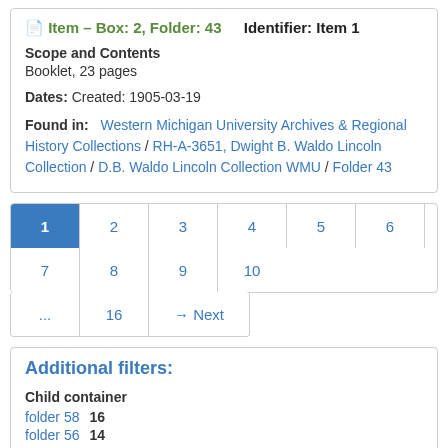Item – Box: 2, Folder: 43    Identifier: Item 1
Scope and Contents
Booklet, 23 pages
Dates: Created: 1905-03-19
Found in: Western Michigan University Archives & Regional History Collections / RH-A-3651, Dwight B. Waldo Lincoln Collection / D.B. Waldo Lincoln Collection WMU / Folder 43
Pagination: 1 2 3 4 5 6 7 8 9 10 ... 16 → Next
Additional filters:
Child container
folder 58  16
folder 56  14